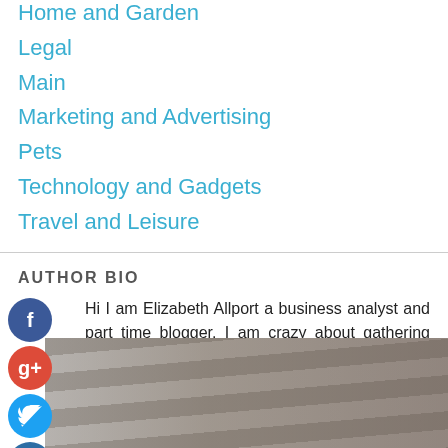Home and Garden
Legal
Main
Marketing and Advertising
Pets
Technology and Gadgets
Travel and Leisure
AUTHOR BIO
Hi I am Elizabeth Allport a business analyst and part time blogger. I am crazy about gathering latest information around the world. I have started this blog to share my knowledge & experience.
[Figure (photo): Close-up photo of curtains or fabric with muted gray and brown tones]